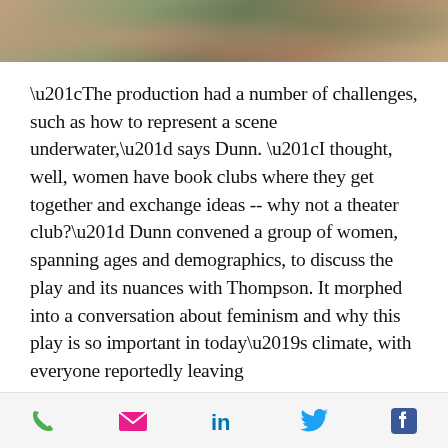[Figure (photo): Partial photo strip at top of page showing people in a casual setting with colorful cushions, cropped view]
“The production had a number of challenges, such as how to represent a scene underwater,” says Dunn. “I thought, well, women have book clubs where they get together and exchange ideas -- why not a theater club?” Dunn convened a group of women, spanning ages and demographics, to discuss the play and its nuances with Thompson. It morphed into a conversation about feminism and why this play is so important in today’s climate, with everyone reportedly leaving
Phone | Email | LinkedIn | Twitter | Facebook social share icons